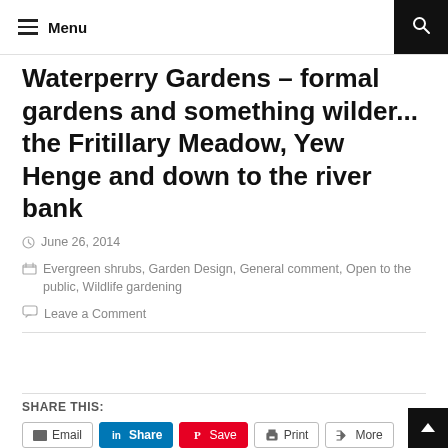Menu
Waterperry Gardens – formal gardens and something wilder... the Fritillary Meadow, Yew Henge and down to the river bank
June 26, 2014
Evergreen shrubs, Garden Design, General comment, Open to the public, Wildlife gardening
Leave a Comment
SHARE THIS:
Email  Share  Save  Print  More
Loading...